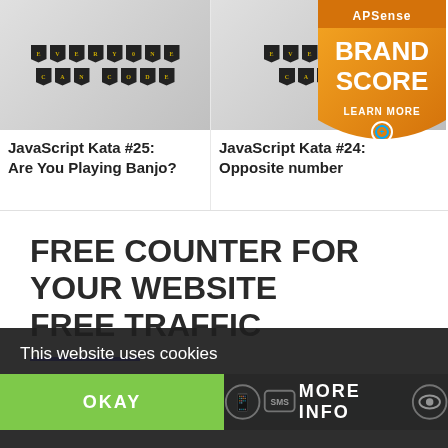[Figure (photo): Photo of 'Everyone Can Code' banner flags decoration, two article card images side by side]
JavaScript Kata #25: Are You Playing Banjo?
JavaScript Kata #24: Opposite number
[Figure (logo): APSense Brand Score badge - orange shield shape with text BRAND SCORE and LEARN MORE]
FREE COUNTER FOR YOUR WEBSITE FREE TRAFFIC
This website uses cookies
OKAY
MORE INFO